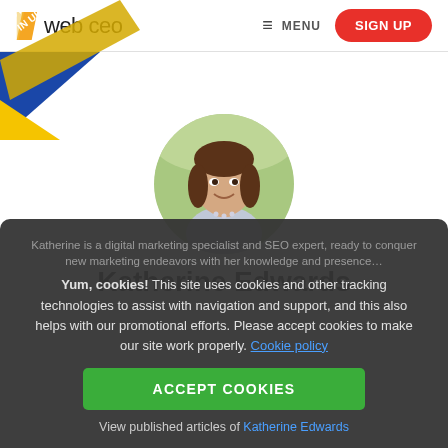web ceo  MENU  SIGN UP
[Figure (illustration): Stop War In Ukraine banner ribbon in blue and yellow in top-left corner]
[Figure (photo): Circular portrait photo of Katherine Edwards, a young woman with brown hair, smiling, outdoors with green background]
Katherine Edwards
Yum, cookies! This site uses cookies and other tracking technologies to assist with navigation and support, and this also helps with our promotional efforts. Please accept cookies to make our site work properly. Cookie policy
ACCEPT COOKIES
View published articles of Katherine Edwards